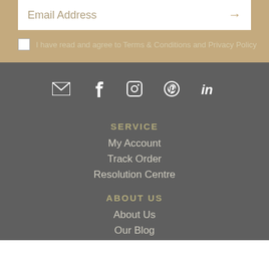Email Address
I have read and agree to Terms & Conditions and Privacy Policy
[Figure (infographic): Social media icons: email/envelope, Facebook, Instagram, Pinterest, LinkedIn]
SERVICE
My Account
Track Order
Resolution Centre
ABOUT US
About Us
Our Blog